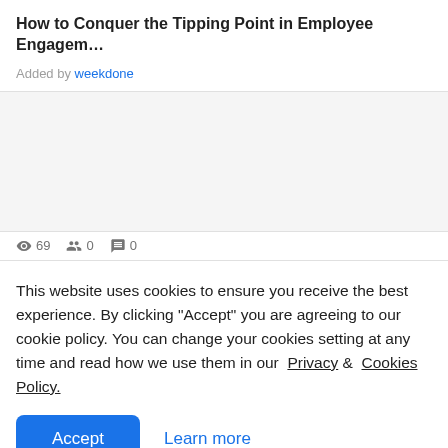How to Conquer the Tipping Point in Employee Engagem...
Added by weekdone
[Figure (screenshot): Gray content area placeholder for a card or article preview image]
This website uses cookies to ensure you receive the best experience. By clicking "Accept" you are agreeing to our cookie policy. You can change your cookies setting at any time and read how we use them in our Privacy & Cookies Policy.
Accept   Learn more